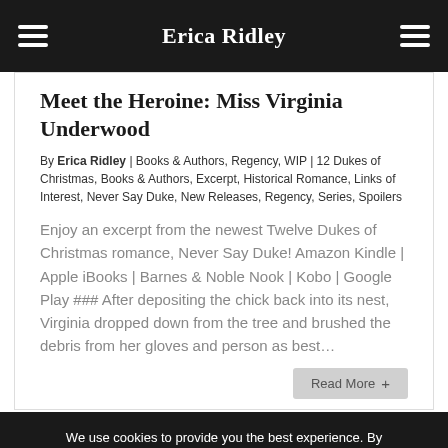Erica Ridley
Meet the Heroine: Miss Virginia Underwood
By Erica Ridley | Books & Authors, Regency, WIP | 12 Dukes of Christmas, Books & Authors, Excerpt, Historical Romance, Links of Interest, Never Say Duke, New Releases, Regency, Series, Spoilers
Enjoy an excerpt from the newest Twelve Dukes of Christmas romance, Never Say Duke! Amazon Kindle | Apple iBooks | Barnes & Noble Nook | Kobo | Google Play ### After depositing the chick back into its nest, Virginia dropped down from the tree and brushed the debris from her gloves and person as best...
Read More
We use cookies to provide you the best experience. By continuing to use this site, you consent to their use.
Ok   Read more